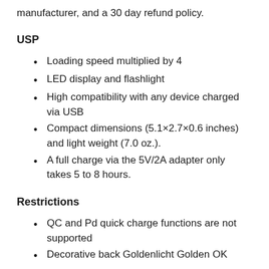manufacturer, and a 30 day refund policy.
USP
Loading speed multiplied by 4
LED display and flashlight
High compatibility with any device charged via USB
Compact dimensions (5.1×2.7×0.6 inches) and light weight (7.0 oz.).
A full charge via the 5V/2A adapter only takes 5 to 8 hours.
Restrictions
QC and Pd quick charge functions are not supported
Decorative back Goldenlicht Golden OK...